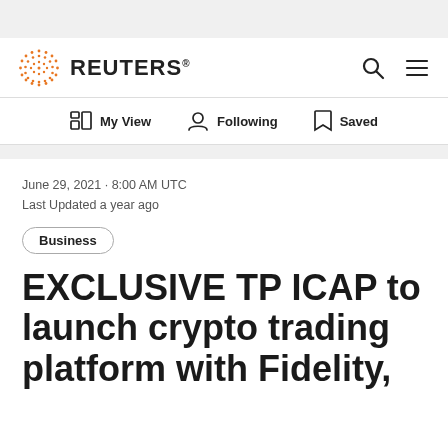[Figure (logo): Reuters logo with orange dot matrix icon and REUTERS wordmark]
My View | Following | Saved
June 29, 2021 · 8:00 AM UTC
Last Updated a year ago
Business
EXCLUSIVE TP ICAP to launch crypto trading platform with Fidelity,